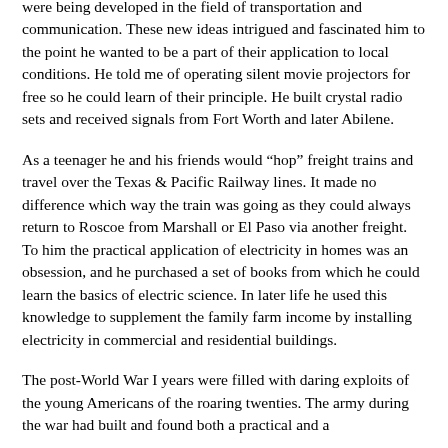were being developed in the field of transportation and communication. These new ideas intrigued and fascinated him to the point he wanted to be a part of their application to local conditions. He told me of operating silent movie projectors for free so he could learn of their principle. He built crystal radio sets and received signals from Fort Worth and later Abilene.
As a teenager he and his friends would “hop” freight trains and travel over the Texas & Pacific Railway lines. It made no difference which way the train was going as they could always return to Roscoe from Marshall or El Paso via another freight. To him the practical application of electricity in homes was an obsession, and he purchased a set of books from which he could learn the basics of electric science. In later life he used this knowledge to supplement the family farm income by installing electricity in commercial and residential buildings.
The post-World War I years were filled with daring exploits of the young Americans of the roaring twenties. The army during the war had built and found both a practical and a